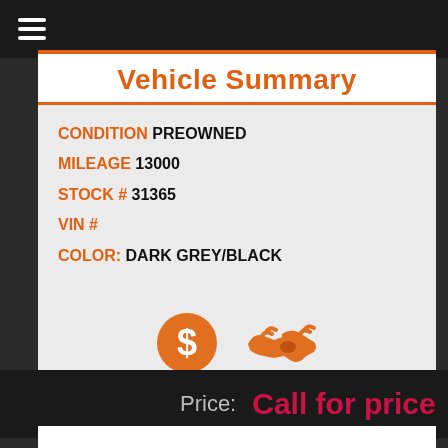☰ (menu icon)
Vehicle Summary
CONDITION PREOWNED
MILEAGE 13000
STOCK # 31365
VIN #
COLOR: DARK GREY/BLACK
[Figure (infographic): Two orange icons: a dollar sign circle (Financing) and a handshake (Trade-In) with labels below]
Price:  Call for price